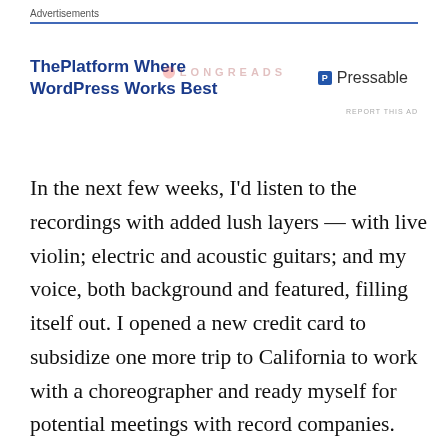Advertisements
[Figure (other): Advertisement banner: ThePlatform Where WordPress Works Best — Pressable logo. Longreads watermark in background.]
In the next few weeks, I'd listen to the recordings with added lush layers — with live violin; electric and acoustic guitars; and my voice, both background and featured, filling itself out. I opened a new credit card to subsidize one more trip to California to work with a choreographer and ready myself for potential meetings with record companies.
***
It didn't take long for me to learn that the real story of life is that it is filled with rejection. You can know with certitude what you want to become and how you want